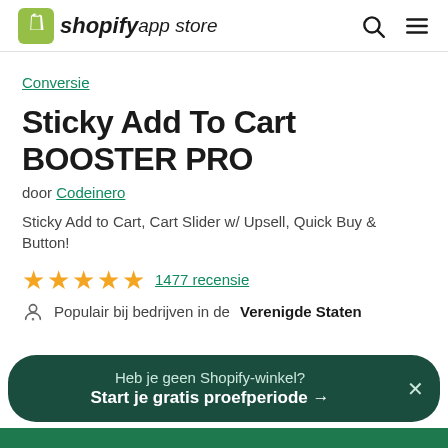shopify app store
Conversie
Sticky Add To Cart BOOSTER PRO
door Codeinero
Sticky Add to Cart, Cart Slider w/ Upsell, Quick Buy & Button!
★★★★★ 1477 recensie
Populair bij bedrijven in de Verenigde Staten
Heb je geen Shopify-winkel? Start je gratis proefperiode →